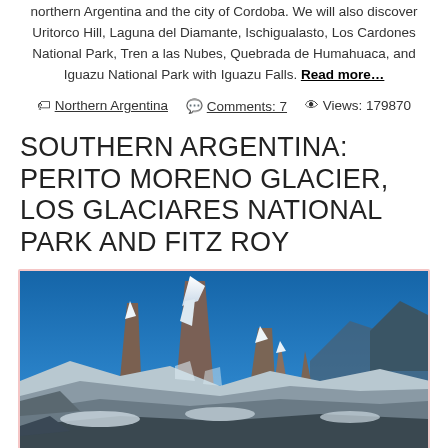northern Argentina and the city of Cordoba. We will also discover Uritorco Hill, Laguna del Diamante, Ischigualasto, Los Cardones National Park, Tren a las Nubes, Quebrada de Humahuaca, and Iguazu National Park with Iguazu Falls. Read more...
Northern Argentina  Comments: 7  Views: 179870
SOUTHERN ARGENTINA: PERITO MORENO GLACIER, LOS GLACIARES NATIONAL PARK AND FITZ ROY
[Figure (photo): Dramatic mountain peaks with snow and jagged rock formations against a deep blue sky — likely Fitz Roy or Cerro Torre in Patagonia, Argentina.]